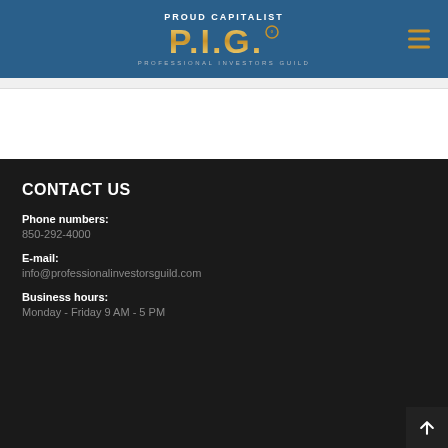[Figure (logo): Proud Capitalist P.I.G. Professional Investors Guild logo with gold pig letters on blue header background]
CONTACT US
Phone numbers:
850-292-4000
E-mail:
info@professionalinvestorsguild.com
Business hours:
Monday - Friday 9 AM - 5 PM